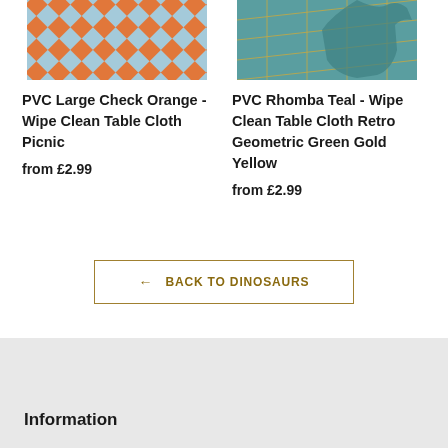[Figure (photo): Orange and blue diamond/check pattern tablecloth image, cropped at top]
PVC Large Check Orange - Wipe Clean Table Cloth Picnic
from £2.99
[Figure (photo): Teal and gold geometric dinosaur pattern tablecloth image, cropped at top]
PVC Rhomba Teal - Wipe Clean Table Cloth Retro Geometric Green Gold Yellow
from £2.99
← BACK TO DINOSAURS
Information